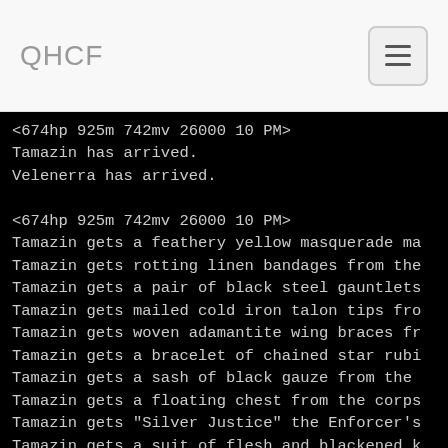QHCF
<674hp 925m 742mv 26000 10 PM>
Tamazin has arrived.
Velenerra has arrived.

<674hp 925m 742mv 26000 10 PM>
Tamazin gets a feathery yellow masquerade ma
Tamazin gets rotting linen bandages from the
Tamazin gets a pair of black steel gauntlets
Tamazin gets mailed cold iron talon tips fro
Tamazin gets woven adamantite wing braces fr
Tamazin gets a bracelet of chained star rubi
Tamazin gets a sash of black gauze from the
Tamazin gets a floating chest from the corps
Tamazin gets "Silver Justice" the Enforcer's
Tamazin gets a suit of flesh and blackened k
Tamazin gets a flickering gem from the corps
Tamazin gets an oil of sight from the corpse
Tamazin gets a potion of return from the cor
Tamazin gets a sleek sienna rod from the cor
Tamazin gets an unholy symbol of the Spider